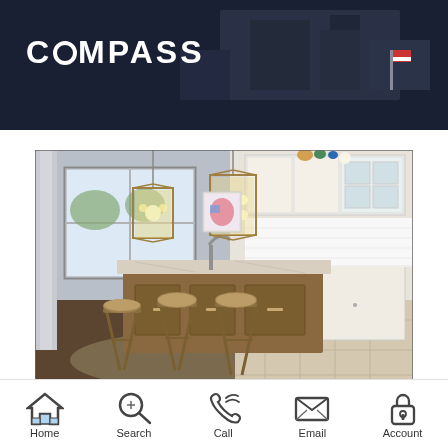COMPASS
[Figure (photo): Interior photo of a luxury kitchen with a large granite island, three bar stools with wicker seats, pendant lantern lights, white shaker cabinets, stainless steel appliances, and hardwood floors. A bright window in the background shows trees outside.]
Homes for Sale in
Home  Search  Call  Email  Account